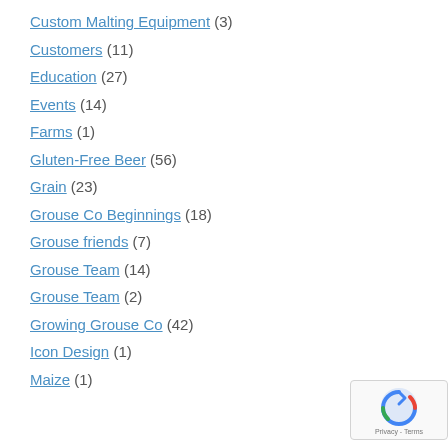Custom Malting Equipment (3)
Customers (11)
Education (27)
Events (14)
Farms (1)
Gluten-Free Beer (56)
Grain (23)
Grouse Co Beginnings (18)
Grouse friends (7)
Grouse Team (14)
Grouse Team (2)
Growing Grouse Co (42)
Icon Design (1)
Maize (1)